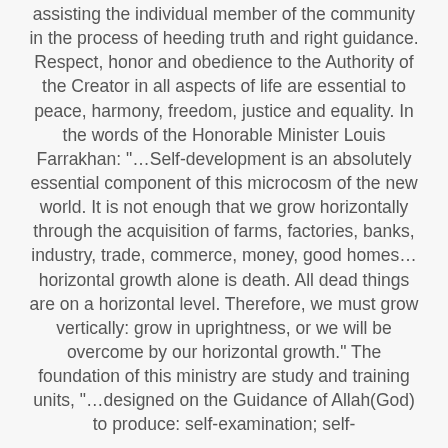assisting the individual member of the community in the process of heeding truth and right guidance. Respect, honor and obedience to the Authority of the Creator in all aspects of life are essential to peace, harmony, freedom, justice and equality. In the words of the Honorable Minister Louis Farrakhan: "…Self-development is an absolutely essential component of this microcosm of the new world. It is not enough that we grow horizontally through the acquisition of farms, factories, banks, industry, trade, commerce, money, good homes… horizontal growth alone is death. All dead things are on a horizontal level. Therefore, we must grow vertically: grow in uprightness, or we will be overcome by our horizontal growth." The foundation of this ministry are study and training units, "…designed on the Guidance of Allah(God) to produce: self-examination; self-